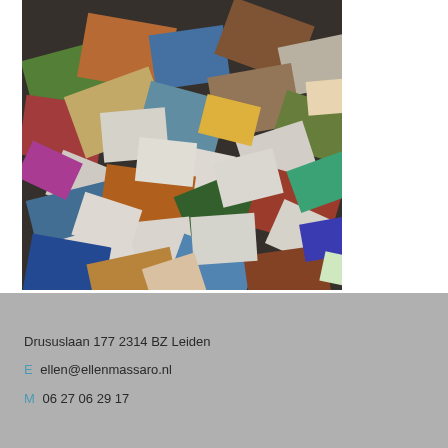[Figure (photo): A large pile of scattered photographs and postcards mixed together in a colorful chaotic arrangement, viewed from above]
Drususlaan 177 2314 BZ Leiden
E ellen@ellenmassaro.nl
M 06 27 06 29 17